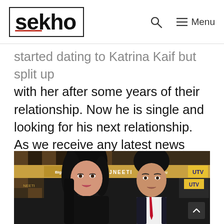sekho | Menu
started dating to Katrina Kaif but split up with her after some years of their relationship. Now he is single and looking for his next relationship. As we receive any latest news about his next relationship we will update here soon.
[Figure (photo): Photo of a woman and man at a Raajneeti movie event backdrop with UTV, BigCinemas logos. Woman has long dark hair and dangly earrings. Man wears white shirt and red tie.]